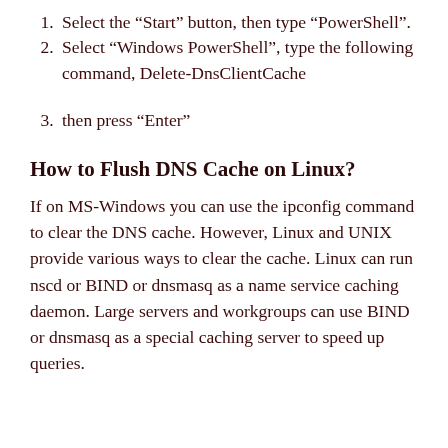Select the “Start” button, then type “PowerShell”.
Select “Windows PowerShell”, type the following command, Delete-DnsClientCache
then press “Enter”
How to Flush DNS Cache on Linux?
If on MS-Windows you can use the ipconfig command to clear the DNS cache. However, Linux and UNIX provide various ways to clear the cache. Linux can run nscd or BIND or dnsmasq as a name service caching daemon. Large servers and workgroups can use BIND or dnsmasq as a special caching server to speed up queries.